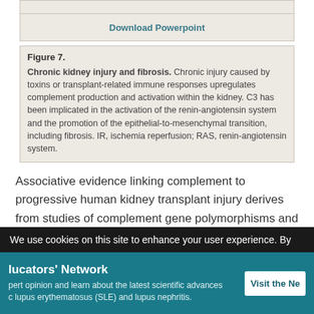[Figure (other): Partial figure 7 image at top of page (cropped)]
Download Powerpoint
Figure 7.
Chronic kidney injury and fibrosis. Chronic injury caused by toxins or transplant-related immune responses upregulates complement production and activation within the kidney. C3 has been implicated in the activation of the renin-angiotensin system and the promotion of the epithelial-to-mesenchymal transition, including fibrosis. IR, ischemia reperfusion; RAS, renin-angiotensin system.
Associative evidence linking complement to progressive human kidney transplant injury derives from studies of complement gene polymorphisms and transplant outcomes. Specific C5 polymorphisms in both the donor and recipient have been associated with worse late
We use cookies on this site to enhance your user experience. By
lucators' Network
pert opinion and learn about the latest scientific advances
c lupus erythematosus (SLE) and lupus nephritis.